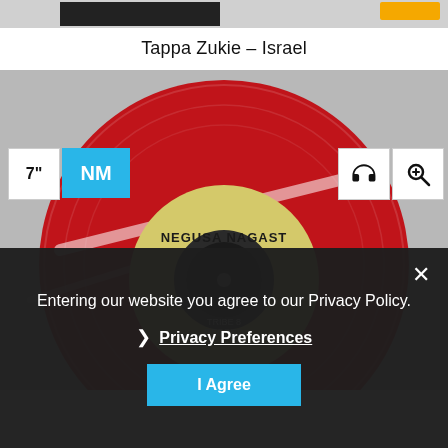[Figure (photo): Top strip showing partially visible record product images]
Tappa Zukie – Israel
[Figure (photo): Red vinyl 7-inch record with Negusa Nagast / Tribe 8 Record label visible in center. Badges showing 7 inch size, NM condition, headphone and zoom icons overlaid on the image.]
Entering our website you agree to our Privacy Policy.
❯ Privacy Preferences
I Agree